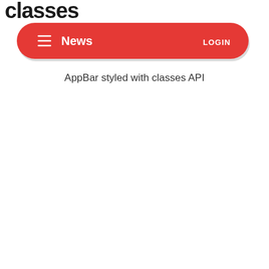classes
[Figure (screenshot): Red rounded AppBar UI component with hamburger menu icon on left, 'News' title in white bold text, and 'LOGIN' text on the right, all on a red background with rounded pill shape]
AppBar styled with classes API